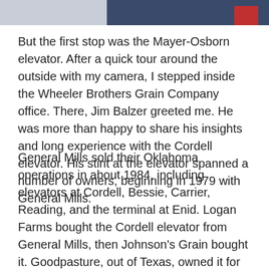[Figure (photo): Partial photo at top of page showing a person, cropped — only the lower portion visible.]
But the first stop was the Mayer-Osborn elevator. After a quick tour around the outside with my camera, I stepped inside the Wheeler Brothers Grain Company office. There, Jim Balzer greeted me. He was more than happy to share his insights and long experience with the Cordell elevator. His stint at the elevator spanned a number of owners, beginning in 1979 with General Mills.
General Mills sold their Oklahoma operations in about 1984, including elevators at Cordell, Bessie, Carrier, Reading, and the terminal at Enid. Logan Farms bought the Cordell elevator from General Mills, then Johnson's Grain bought it. Goodpasture, out of Texas, owned it for awhile. Wheeler Brothers finally bought it in 1996 or 1997.